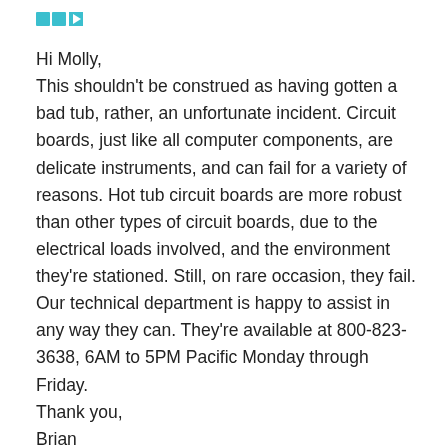[Figure (logo): Company logo with teal/cyan colored icon on top left]
Hi Molly,
This shouldn't be construed as having gotten a bad tub, rather, an unfortunate incident. Circuit boards, just like all computer components, are delicate instruments, and can fail for a variety of reasons. Hot tub circuit boards are more robust than other types of circuit boards, due to the electrical loads involved, and the environment they're stationed. Still, on rare occasion, they fail.
Our technical department is happy to assist in any way they can. They're available at 800-823-3638, 6AM to 5PM Pacific Monday through Friday.
Thank you,
Brian